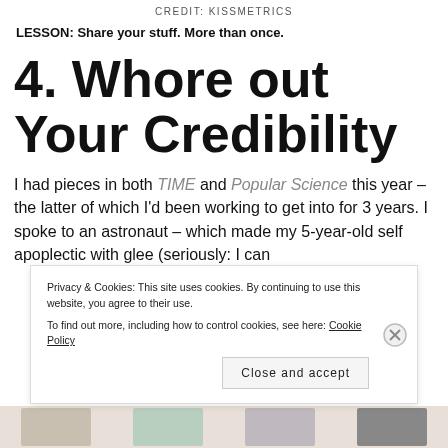CREDIT: KISSMETRICS
LESSON: Share your stuff. More than once.
4. Whore out Your Credibility
I had pieces in both TIME and Popular Science this year – the latter of which I'd been working to get into for 3 years. I spoke to an astronaut – which made my 5-year-old self apoplectic with glee (seriously: I can
Privacy & Cookies: This site uses cookies. By continuing to use this website, you agree to their use.
To find out more, including how to control cookies, see here: Cookie Policy
Close and accept